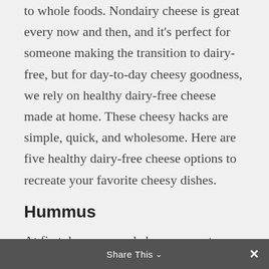to whole foods. Nondairy cheese is great every now and then, and it's perfect for someone making the transition to dairy-free, but for day-to-day cheesy goodness, we rely on healthy dairy-free cheese made at home. These cheesy hacks are simple, quick, and wholesome. Here are five healthy dairy-free cheese options to recreate your favorite cheesy dishes.
Hummus
At first, hummus and cheese seem to have little in common. Yet somehow, it just works. Trust us on this. Hummus provides substance, flavor, and richness in the same
Share This ∨   ✕